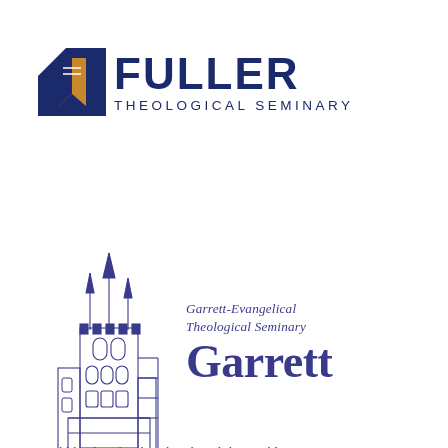[Figure (logo): Fuller Theological Seminary logo with open book icon in dark blue and gold, and text 'FULLER THEOLOGICAL SEMINARY' in dark navy]
[Figure (logo): Garrett-Evangelical Theological Seminary logo with a gothic tower illustration in blue-purple, italic text 'Garrett-Evangelical Theological Seminary', large 'Garrett' wordmark, and tagline 'Bold leaders for the Church and the World']